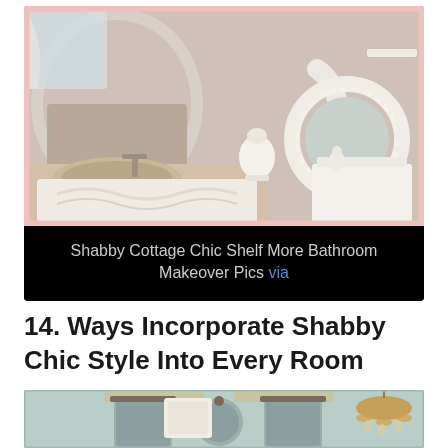[Figure (photo): Shabby chic bathroom with ornate white vanity, faucet, decorative items, round mirror with ruffled frame, and white storage cabinet]
Shabby Cottage Chic Shelf More Bathroom Makeover Pics via
14. Ways Incorporate Shabby Chic Style Into Every Room
[Figure (photo): Shabby chic bathroom interior with mirrors, vanity lights, and chandelier]